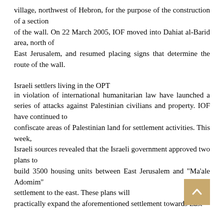village, northwest of Hebron, for the purpose of the construction of a section of the wall. On 22 March 2005, IOF moved into Dahiat al-Barid area, north of East Jerusalem, and resumed placing signs that determine the route of the wall.
Israeli settlers living in the OPT
in violation of international humanitarian law have launched a series of attacks against Palestinian civilians and property. IOF have continued to confiscate areas of Palestinian land for settlement activities. This week, Israeli sources revealed that the Israeli government approved two plans to build 3500 housing units between East Jerusalem and "Ma'ale Adomim" settlement to the east. These plans will practically expand the aforementioned settlement towards East